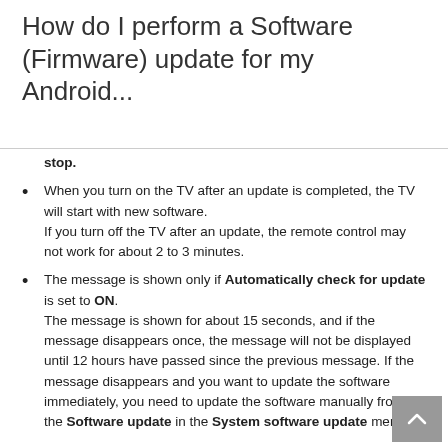How do I perform a Software (Firmware) update for my Android...
stop.
When you turn on the TV after an update is completed, the TV will start with new software. If you turn off the TV after an update, the remote control may not work for about 2 to 3 minutes.
The message is shown only if Automatically check for update is set to ON. The message is shown for about 15 seconds, and if the message disappears once, the message will not be displayed until 12 hours have passed since the previous message. If the message disappears and you want to update the software immediately, you need to update the software manually from the Software update in the System software update menu.